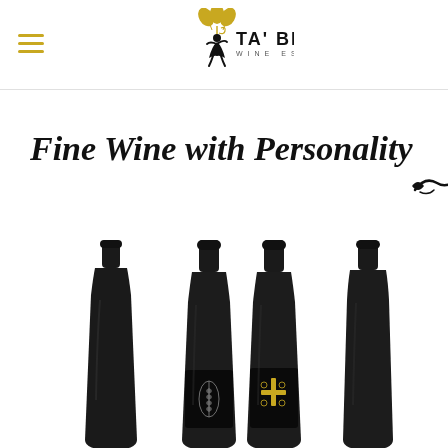[Figure (logo): Ta' Betta Wine Estates logo with golden grapevine illustration and silhouette of a dancing woman]
Fine Wine with Personality
[Figure (photo): Four dark wine bottles arranged side by side, the two middle bottles have visible labels with decorative motifs on black backgrounds]